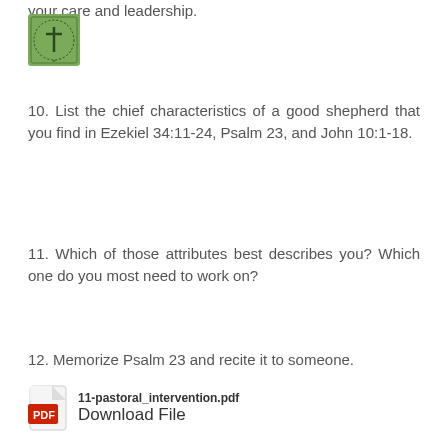your care and leadership.
[Figure (logo): Green square logo with a cross/shepherd staff icon and text around border]
10. List the chief characteristics of a good shepherd that you find in Ezekiel 34:11-24, Psalm 23, and John 10:1-18.
11. Which of those attributes best describes you? Which one do you most need to work on?
12. Memorize Psalm 23 and recite it to someone.
11-pastoral_intervention.pdf
Download File